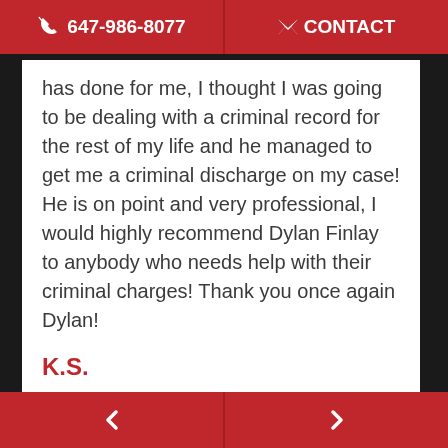647-986-8077  CONTACT
has done for me, I thought I was going to be dealing with a criminal record for the rest of my life and he managed to get me a criminal discharge on my case! He is on point and very professional, I would highly recommend Dylan Finlay to anybody who needs help with their criminal charges! Thank you once again Dylan!
K.S.